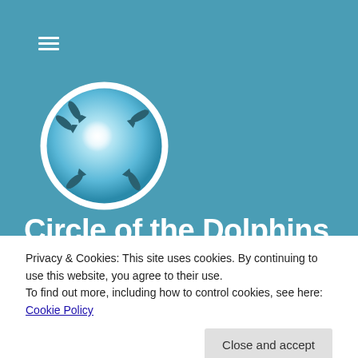[Figure (logo): Circle of swimming dolphins logo — a white-bordered circular badge with light blue globe and dark dolphin silhouettes circling a bright white center light]
Circle of the Dolphins
Privacy & Cookies: This site uses cookies. By continuing to use this website, you agree to their use.
To find out more, including how to control cookies, see here: Cookie Policy
Close and accept
Crystal Core